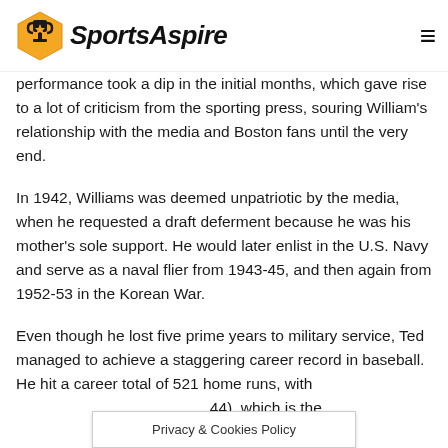SportsAspire
performance took a dip in the initial months, which gave rise to a lot of criticism from the sporting press, souring William's relationship with the media and Boston fans until the very end.
In 1942, Williams was deemed unpatriotic by the media, when he requested a draft deferment because he was his mother's sole support. He would later enlist in the U.S. Navy and serve as a naval flier from 1943-45, and then again from 1952-53 in the Korean War.
Even though he lost five prime years to military service, Ted managed to achieve a staggering career record in baseball. He hit a career total of 521 home runs, with [partially obscured] (44), which is the
Privacy & Cookies Policy